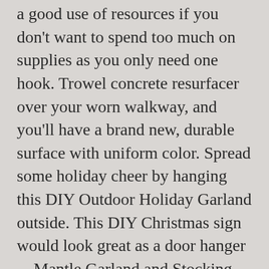a good use of resources if you don't want to spend too much on supplies as you only need one hook. Trowel concrete resurfacer over your worn walkway, and you'll have a brand new, durable surface with uniform color. Spread some holiday cheer by hanging this DIY Outdoor Holiday Garland outside. This DIY Christmas sign would look great as a door hanger ... Mantle Garland and Stocking Hanger (3 Pack) Item #1443142. $28.99 $ 28. Use low-power Christmas lights with a natural garland to reduce the risk of causing a fire. The wool felt balls used for this project measure 2.5 centimeters, which is about 1 inch. The Instant Garland Hanger This is the door garland hanger that is held in place by